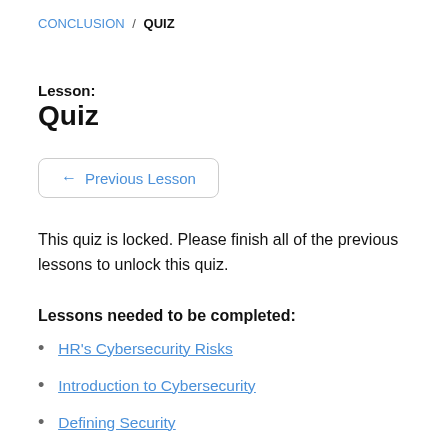CONCLUSION / QUIZ
Lesson:
Quiz
← Previous Lesson
This quiz is locked. Please finish all of the previous lessons to unlock this quiz.
Lessons needed to be completed:
HR's Cybersecurity Risks
Introduction to Cybersecurity
Defining Security
What are Attackers After?